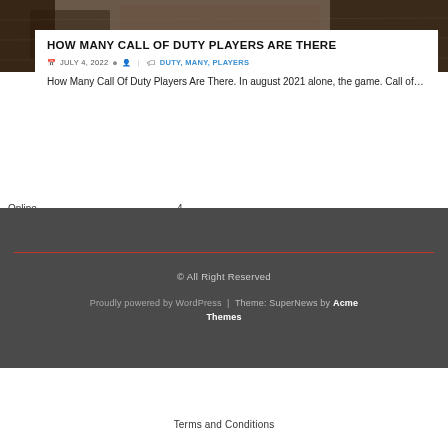[Figure (photo): Background photo of a Call of Duty game scene, dark brownish/military tone]
HOW MANY CALL OF DUTY PLAYERS ARE THERE
JULY 4, 2022   |   DUTY, MANY, PLAYERS
How Many Call Of Duty Players Are There. In august 2021 alone, the game. Call of…
Online                    4
© All Right Reserved
Proudly powered by WordPress | Theme: SuperNews by Acme Themes
Terms and Conditions